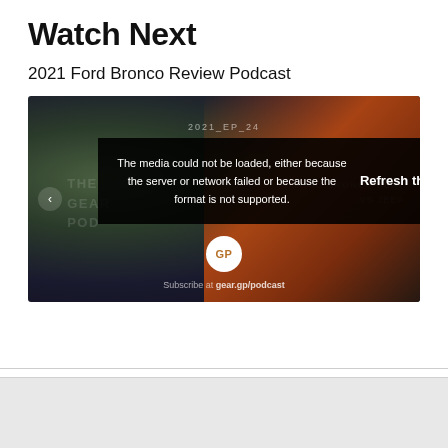Watch Next
2021 Ford Bronco Review Podcast
[Figure (screenshot): A video player thumbnail with a dark gradient background (green-black to orange-rust) showing a podcast video. An error overlay reads: 'The media could not be loaded, either because the server or network failed or because the format is not supported.' with a 'Refresh the page to resume playback.' button on the right. The episode label '2021_EP_24' appears at the top center. A 'GP' circular logo and 'Subscribe at gear.gp/podcast' text appear at the bottom.]